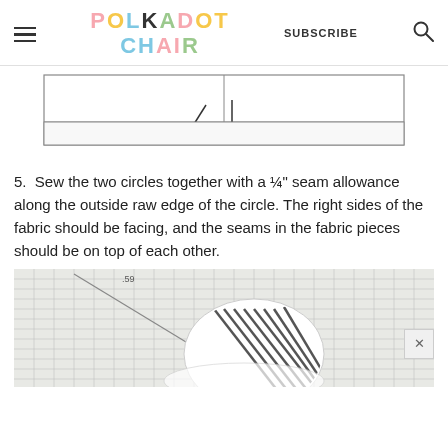POLKADOT CHAIR — SUBSCRIBE
[Figure (illustration): Line drawing diagram of a fabric piece showing dotted stitch lines along the bottom edge with arrows pointing downward toward the stitch lines]
5. Sew the two circles together with a ¼" seam allowance along the outside raw edge of the circle. The right sides of the fabric should be facing, and the seams in the fabric pieces should be on top of each other.
[Figure (photo): Photo of two circular fabric pieces being sewn together on a sewing mat with a ruler visible, striped fabric pinned together]